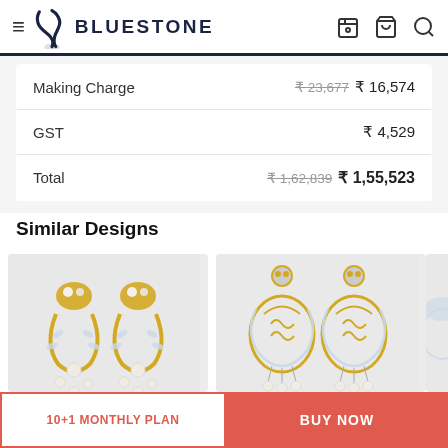BLUESTONE
|  |  |
| --- | --- |
| Making Charge | ₹ 23,677  ₹ 16,574 |
| GST | ₹ 4,529 |
| Total | ₹ 1,62,839  ₹ 1,55,523 |
Similar Designs
[Figure (photo): Gold and diamond chandelier earrings with pearl drops on light gray background]
[Figure (photo): Gold and diamond ornate chandelier earrings with pearl accents on light gray background]
[Figure (photo): Partially visible diamond earrings on right edge]
10+1 MONTHLY PLAN
BUY NOW